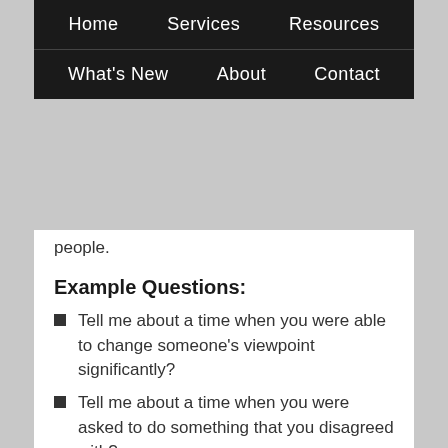Home   Services   Resources   What's New   About   Contact
people.
Example Questions:
Tell me about a time when you were able to change someone's viewpoint significantly?
Tell me about a time when you were asked to do something that you disagreed with?
Interpersonal and Team Skills
The desire to build and maintain relationships